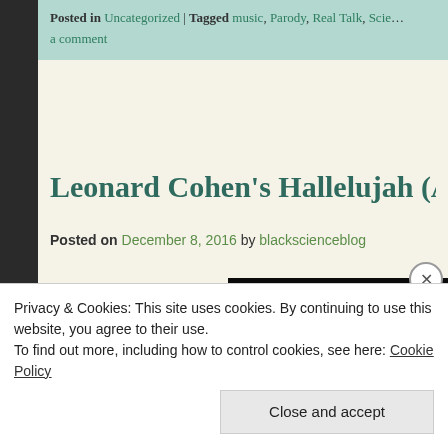Posted in Uncategorized | Tagged music, Parody, Real Talk, Scie… a comment
Leonard Cohen's Hallelujah (A Scienc…
Posted on December 8, 2016 by blackscienceblog
[Figure (photo): The Daily Beast article image showing Leonard Cohen with quote 'There is a crack in everything,']
Privacy & Cookies: This site uses cookies. By continuing to use this website, you agree to their use.
To find out more, including how to control cookies, see here: Cookie Policy